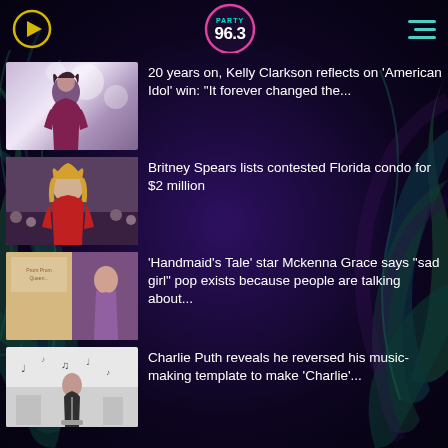[Figure (screenshot): Party 96.3 radio station logo - circular badge with pink border, teal 'PARTY' text on top, large white '96.3' text]
[Figure (photo): Kelly Clarkson performing on stage, singing into microphone, wearing purple/maroon jacket, bokeh lights in background]
20 years on, Kelly Clarkson reflects on 'American Idol' win: "It forever changed the...
[Figure (photo): Britney Spears at an event, blonde hair, red outfit, crowd in background]
Britney Spears lists contested Florida condo for $2 million
[Figure (photo): Mckenna Grace album/promo image with 'Prom Queen' text visible and artist posing]
'Handmaid's Tale' star Mckenna Grace says "sad girl" pop exists because people are talking about...
[Figure (photo): Charlie Puth in white room with music notes floating around him]
Charlie Puth reveals he reversed his music-making template to make 'Charlie'...